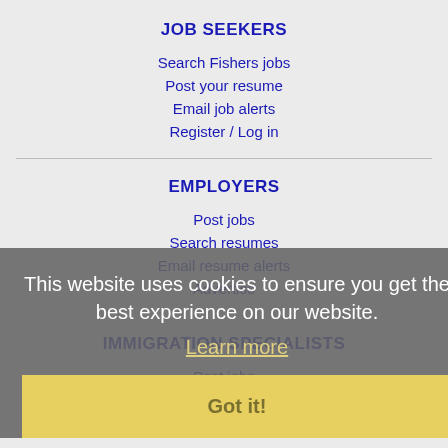JOB SEEKERS
Search Fishers jobs
Post your resume
Email job alerts
Register / Log in
EMPLOYERS
Post jobs
Search resumes
Email resume alerts
Advertise
IMMIGRATION SPECIALISTS
Post jobs
This website uses cookies to ensure you get the best experience on our website.
Learn more
Got it!